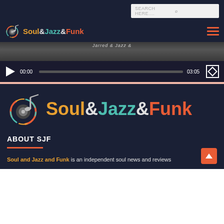[Figure (screenshot): Soul & Jazz & Funk website header with search bar, logo, hamburger menu, video player strip showing 00:00 / 03:05 time, and below a divider, a large Soul & Jazz & Funk logo, ABOUT SJF section header with orange underline rule, and introductory text 'Soul and Jazz and Funk is an independent soul news and reviews']
SEARCH HERE....
Soul&Jazz&Funk
[Figure (screenshot): Video player bar with play button, 00:00 timestamp, progress bar, 03:05 end time, and fullscreen button]
[Figure (logo): Large Soul & Jazz & Funk logo with music note icon]
ABOUT SJF
Soul and Jazz and Funk is an independent soul news and reviews